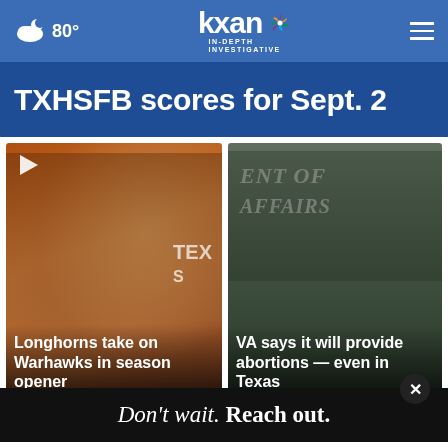80° | kxan IN-DEPTH INVESTIGATIVE
TXHSFB scores for Sept. 2
[Figure (photo): Texas Longhorns football player celebrating in crowd at game]
Longhorns take on Warhawks in season opener
[Figure (photo): VA Department of Affairs building sign]
VA says it will provide abortions — even in Texas
[Figure (photo): Purple background with play button - partial view]
[Figure (photo): Radar weather map showing SATURDAY 30PM WACO]
Don't wait. Reach out.